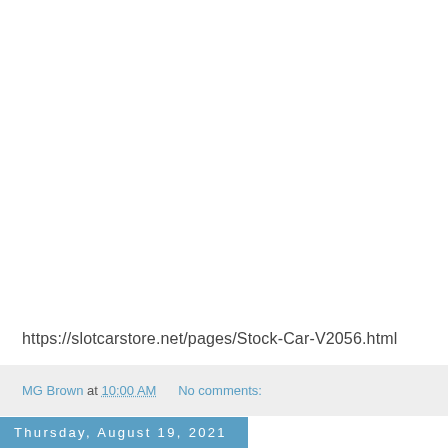https://slotcarstore.net/pages/Stock-Car-V2056.html
MG Brown at 10:00 AM   No comments:
Thursday, August 19, 2021